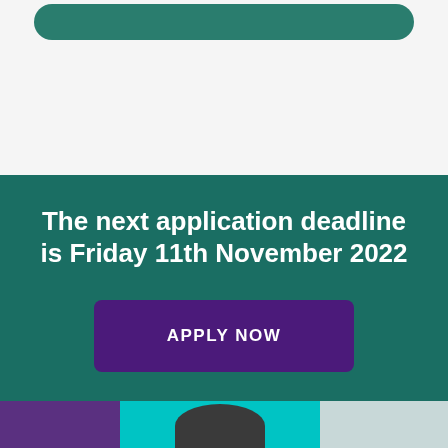[Figure (other): Teal rounded button element at the top of the page on a light grey background]
The next application deadline is Friday 11th November 2022
APPLY NOW
[Figure (photo): Bottom strip showing partial photographs: purple-tinted person on left, person with cyan/teal background in center, grey interior on right]